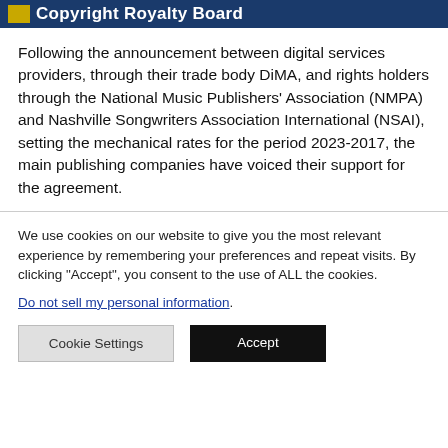Copyright Royalty Board
Following the announcement between digital services providers, through their trade body DiMA, and rights holders through the National Music Publishers' Association (NMPA) and Nashville Songwriters Association International (NSAI), setting the mechanical rates for the period 2023-2017, the main publishing companies have voiced their support for the agreement.
We use cookies on our website to give you the most relevant experience by remembering your preferences and repeat visits. By clicking "Accept", you consent to the use of ALL the cookies.
Do not sell my personal information.
Cookie Settings | Accept